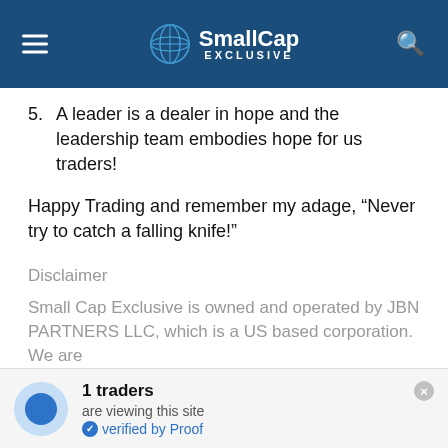SmallCap EXCLUSIVE
5. A leader is a dealer in hope and the leadership team embodies hope for us traders!
Happy Trading and remember my adage, “Never try to catch a falling knife!”
Disclaimer
Small Cap Exclusive is owned and operated by JBN PARTNERS LLC, which is a US based corporation. We are
1 traders are viewing this site verified by Proof